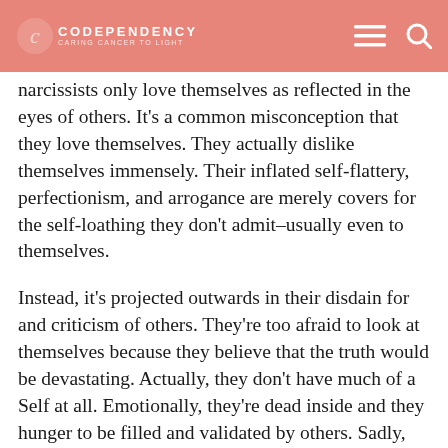CODEPENDENCY
narcissists only love themselves as reflected in the eyes of others. It’s a common misconception that they love themselves. They actually dislike themselves immensely. Their inflated self-flattery, perfectionism, and arrogance are merely covers for the self-loathing they don’t admit–usually even to themselves.
Instead, it’s projected outwards in their disdain for and criticism of others. They’re too afraid to look at themselves because they believe that the truth would be devastating. Actually, they don’t have much of a Self at all. Emotionally, they’re dead inside and they hunger to be filled and validated by others. Sadly, they’re unable to appreciate the love they do get and alienate those who give it